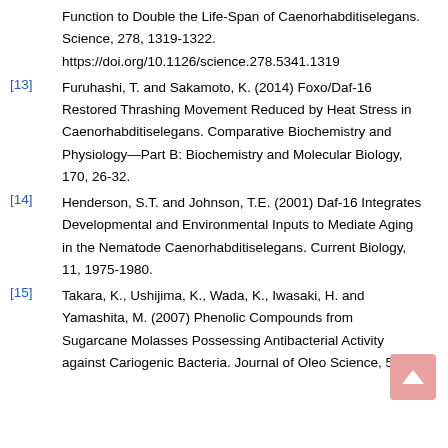Function to Double the Life-Span of Caenorhabditiselegans. Science, 278, 1319-1322. https://doi.org/10.1126/science.278.5341.1319
[13] Furuhashi, T. and Sakamoto, K. (2014) Foxo/Daf-16 Restored Thrashing Movement Reduced by Heat Stress in Caenorhabditiselegans. Comparative Biochemistry and Physiology—Part B: Biochemistry and Molecular Biology, 170, 26-32.
[14] Henderson, S.T. and Johnson, T.E. (2001) Daf-16 Integrates Developmental and Environmental Inputs to Mediate Aging in the Nematode Caenorhabditiselegans. Current Biology, 11, 1975-1980.
[15] Takara, K., Ushijima, K., Wada, K., Iwasaki, H. and Yamashita, M. (2007) Phenolic Compounds from Sugarcane Molasses Possessing Antibacterial Activity against Cariogenic Bacteria. Journal of Oleo Science, 56,